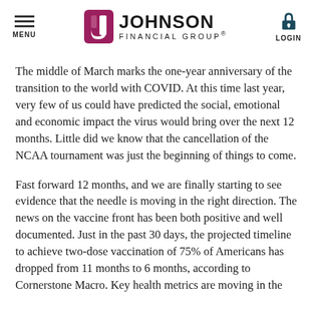MENU | JOHNSON FINANCIAL GROUP® | LOGIN
The middle of March marks the one-year anniversary of the transition to the world with COVID. At this time last year, very few of us could have predicted the social, emotional and economic impact the virus would bring over the next 12 months. Little did we know that the cancellation of the NCAA tournament was just the beginning of things to come.
Fast forward 12 months, and we are finally starting to see evidence that the needle is moving in the right direction. The news on the vaccine front has been both positive and well documented. Just in the past 30 days, the projected timeline to achieve two-dose vaccination of 75% of Americans has dropped from 11 months to 6 months, according to Cornerstone Macro. Key health metrics are moving in the